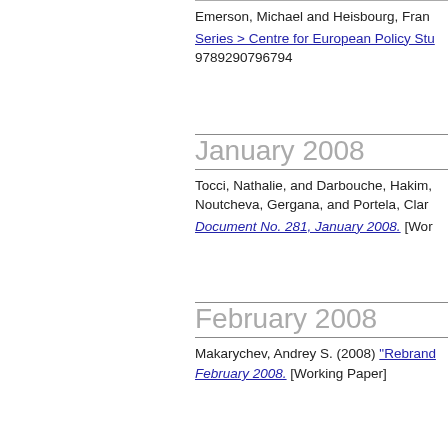Emerson, Michael and Heisbourg, Fran...
Series > Centre for European Policy Stu... 9789290796794
January 2008
Tocci, Nathalie, and Darbouche, Hakim, Noutcheva, Gergana, and Portela, Clara...
Document No. 281, January 2008. [Wor...
February 2008
Makarychev, Andrey S. (2008) "Rebrand... February 2008. [Working Paper]